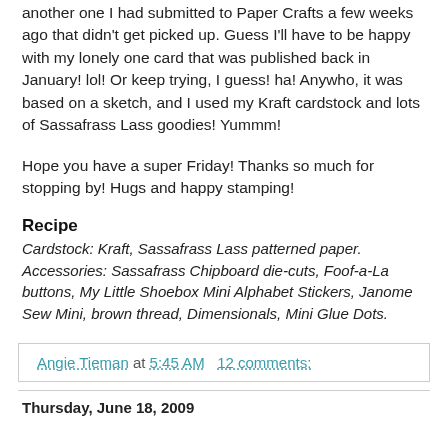another one I had submitted to Paper Crafts a few weeks ago that didn't get picked up. Guess I'll have to be happy with my lonely one card that was published back in January! lol! Or keep trying, I guess! ha! Anywho, it was based on a sketch, and I used my Kraft cardstock and lots of Sassafrass Lass goodies! Yummm!
Hope you have a super Friday! Thanks so much for stopping by! Hugs and happy stamping!
Recipe
Cardstock: Kraft, Sassafrass Lass patterned paper.
Accessories: Sassafrass Chipboard die-cuts, Foof-a-La buttons, My Little Shoebox Mini Alphabet Stickers, Janome Sew Mini, brown thread, Dimensionals, Mini Glue Dots.
Angie Tieman at 5:45 AM   12 comments:
Thursday, June 18, 2009